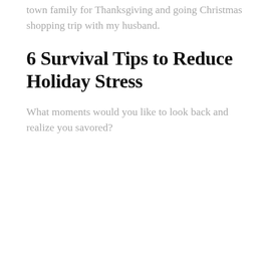town family for Thanksgiving and going Christmas shopping trip with my husband.
6 Survival Tips to Reduce Holiday Stress
What moments would you like to look back and realize you savored?